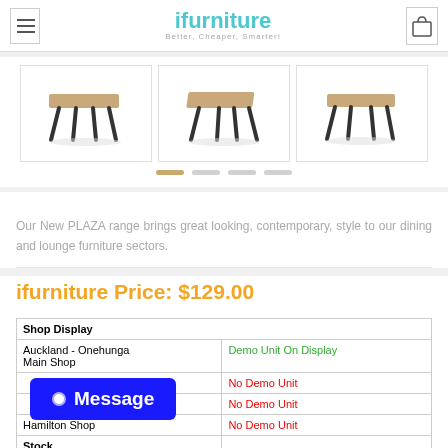ifurniture — Better, Cheaper, Smarter!
[Figure (photo): Three product images of a PLAZA range side table/stool shown from different angles, with dark metal legs and a walnut-tone top.]
Our New PLAZA range brings great looking, contemporary, style to our dining and lounge furniture sectors.
ifurniture Price: $129.00
| Shop Display |  |
| --- | --- |
| Auckland - Onehunga Main Shop | Demo Unit On Display |
|  | No Demo Unit |
|  | No Demo Unit |
| Hamilton Shop | No Demo Unit |
| Stock |  |
Message